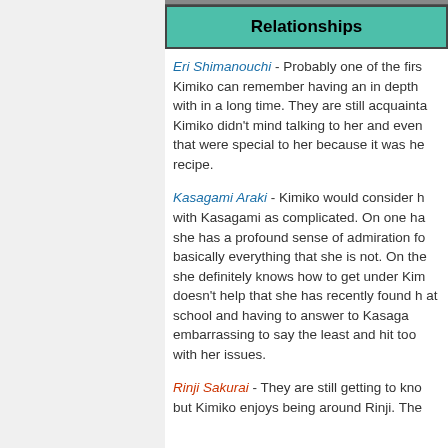Relationships
Eri Shimanouchi - Probably one of the firs Kimiko can remember having an in depth with in a long time. They are still acquainta Kimiko didn't mind talking to her and even that were special to her because it was he recipe.
Kasagami Araki - Kimiko would consider h with Kasagami as complicated. On one ha she has a profound sense of admiration fo basically everything that she is not. On the she definitely knows how to get under Kim doesn't help that she has recently found h at school and having to answer to Kasaga embarrassing to say the least and hit too with her issues.
Rinji Sakurai - They are still getting to kno but Kimiko enjoys being around Rinji. The